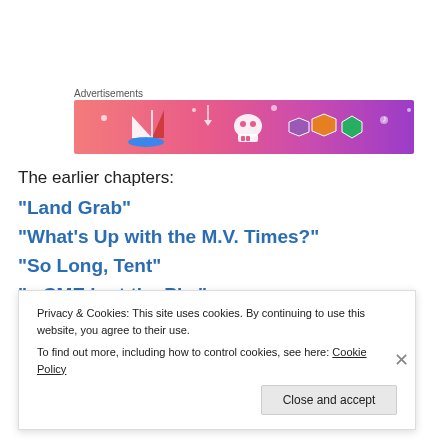Advertisements
[Figure (illustration): Colorful banner advertisement with pink-to-purple gradient background featuring cartoon illustrations of a sailboat, skull, dice/gems, and decorative doodles]
The earlier chapters:
“Land Grab”
“What’s Up with the M.V. Times?”
“So Long, Tent”
“...
Privacy & Cookies: This site uses cookies. By continuing to use this website, you agree to their use.
To find out more, including how to control cookies, see here: Cookie Policy
Close and accept